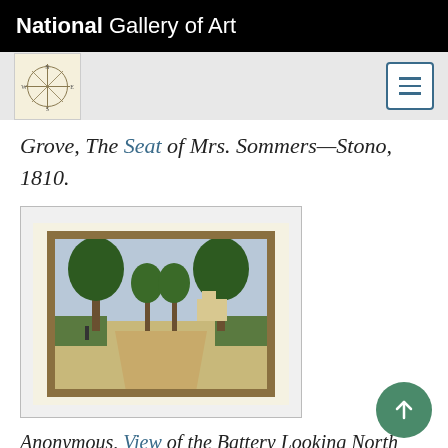National Gallery of Art
Grove, The Seat of Mrs. Sommers—Stono, 1810.
[Figure (illustration): A landscape painting showing a tree-lined path or driveway with large weeping trees, green hedged areas on either side, and a distant view with buildings. Figures visible near the trees. Historical American landscape painting.]
Anonymous, View of the Battery Looking North from the Churn, c. 1812